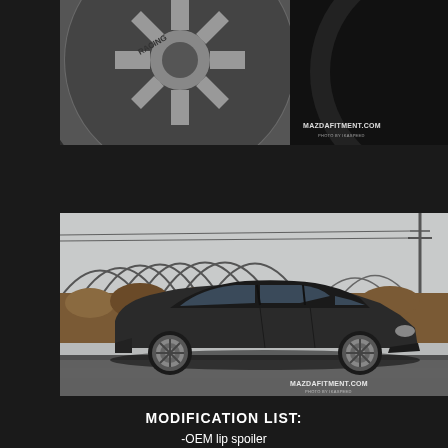[Figure (photo): Close-up photo of a silver multi-spoke racing wheel/hubcap with MAZDAFITMENT.COM watermark in bottom right corner]
[Figure (photo): Side profile photo of a dark/black Mazda sedan car parked on a wet road with greenhouse structures and bare bushes in background. MAZDAFITMENT.COM watermark in bottom right corner.]
MODIFICATION LIST:
-OEM lip spoiler